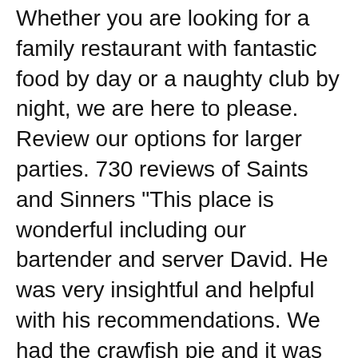Whether you are looking for a family restaurant with fantastic food by day or a naughty club by night, we are here to please. Review our options for larger parties. 730 reviews of Saints and Sinners "This place is wonderful including our bartender and server David. He was very insightful and helpful with his recommendations. We had the crawfish pie and it was delicious. The saint, sinner, and margarita wasBh¦
Saints and Sinners, New Orleans, LA. 54,480 likes B· 175 talking about this B· 80,530 were here. Fun Dining NOT Fine Dining! Saints & Sinners uses its venue and profits to help charity